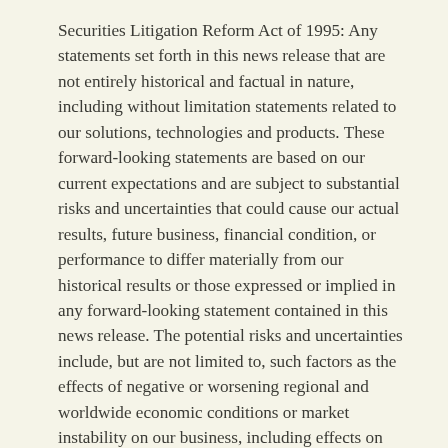Securities Litigation Reform Act of 1995: Any statements set forth in this news release that are not entirely historical and factual in nature, including without limitation statements related to our solutions, technologies and products. These forward-looking statements are based on our current expectations and are subject to substantial risks and uncertainties that could cause our actual results, future business, financial condition, or performance to differ materially from our historical results or those expressed or implied in any forward-looking statement contained in this news release. The potential risks and uncertainties include, but are not limited to, such factors as the effects of negative or worsening regional and worldwide economic conditions or market instability on our business, including effects on purchasing decisions by our customers; the impact of the COVID-19 on these areas are also covered below.